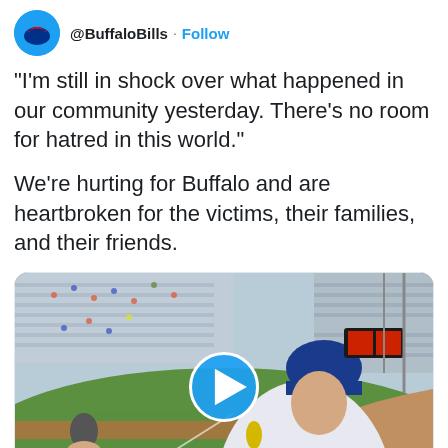[Figure (screenshot): Buffalo Bills Twitter avatar — circular blue logo]
@BuffaloBills · Follow
"I'm still in shock over what happened in our community yesterday. There's no room for hatred in this world."
We're hurting for Buffalo and are heartbroken for the victims, their families, and their friends.
[Figure (photo): Video thumbnail showing a baseball player in a blue cap being interviewed on a baseball field with stadiums seats in background, with a blue play button overlay and Buffalo Bills logo watermark]
youtube.com